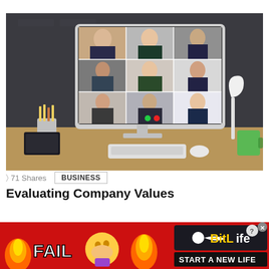[Figure (photo): Desktop computer monitor showing a video conference call with multiple business professionals in separate tiles, on a wooden desk with keyboard, mouse, pencil holder, and lamp]
71 Shares   BUSINESS
Evaluating Company Values
[Figure (other): BitLife advertisement banner with fire, emoji, FAIL text, and START A NEW LIFE slogan on red background]